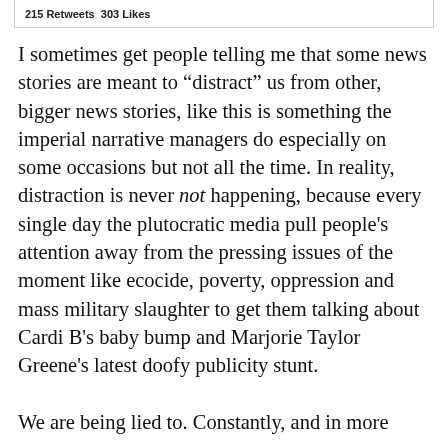215 Retweets  303 Likes
I sometimes get people telling me that some news stories are meant to "distract" us from other, bigger news stories, like this is something the imperial narrative managers do especially on some occasions but not all the time. In reality, distraction is never not happening, because every single day the plutocratic media pull people's attention away from the pressing issues of the moment like ecocide, poverty, oppression and mass military slaughter to get them talking about Cardi B's baby bump and Marjorie Taylor Greene's latest doofy publicity stunt.
We are being lied to. Constantly, and in more